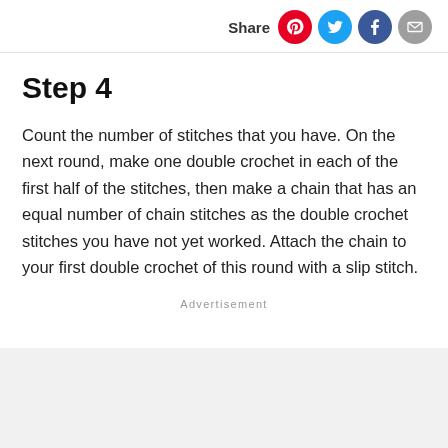Share
Step 4
Count the number of stitches that you have. On the next round, make one double crochet in each of the first half of the stitches, then make a chain that has an equal number of chain stitches as the double crochet stitches you have not yet worked. Attach the chain to your first double crochet of this round with a slip stitch.
Advertisement